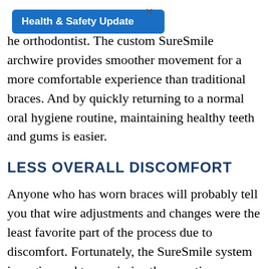[Figure (other): Blue notification badge labeled 'Health & Safety Update' with a close X button]
…spend less time in treatment with the orthodontist. The custom SureSmile archwire provides smoother movement for a more comfortable experience than traditional braces. And by quickly returning to a normal oral hygiene routine, maintaining healthy teeth and gums is easier.
LESS OVERALL DISCOMFORT
Anyone who has worn braces will probably tell you that wire adjustments and changes were the least favorite part of the process due to discomfort. Fortunately, the SureSmile system is engineered to maximize therapeutic efficiency of each wire, significantly reducing the number of adjustments needed. This …